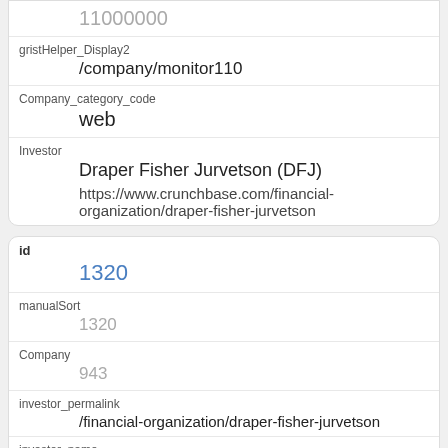11000000
gristHelper_Display2
/company/monitor110
Company_category_code
web
Investor
Draper Fisher Jurvetson (DFJ)
https://www.crunchbase.com/financial-organization/draper-fisher-jurvetson
id
1320
manualSort
1320
Company
943
investor_permalink
/financial-organization/draper-fisher-jurvetson
investor_name
Draper Fisher Jurvetson (DFJ)